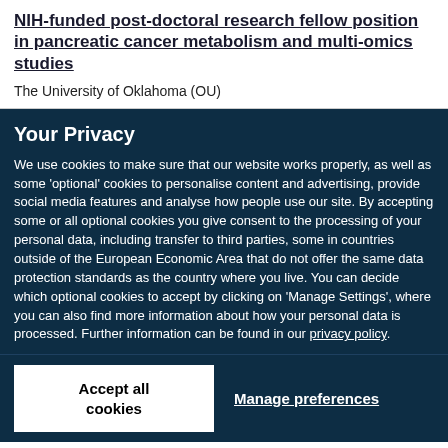NIH-funded post-doctoral research fellow position in pancreatic cancer metabolism and multi-omics studies
The University of Oklahoma (OU)
Your Privacy
We use cookies to make sure that our website works properly, as well as some ‘optional’ cookies to personalise content and advertising, provide social media features and analyse how people use our site. By accepting some or all optional cookies you give consent to the processing of your personal data, including transfer to third parties, some in countries outside of the European Economic Area that do not offer the same data protection standards as the country where you live. You can decide which optional cookies to accept by clicking on ‘Manage Settings’, where you can also find more information about how your personal data is processed. Further information can be found in our privacy policy.
Accept all cookies
Manage preferences